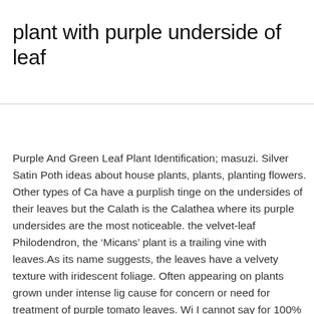plant with purple underside of leaf
Purple And Green Leaf Plant Identification; masuzi. Silver Satin Poth ideas about house plants, plants, planting flowers. Other types of Ca have a purplish tinge on the undersides of their leaves but the Calath is the Calathea where its purple undersides are the most noticeable. the velvet-leaf Philodendron, the ‘Micans’ plant is a trailing vine with leaves.As its name suggests, the leaves have a velvety texture with iridescent foliage. Often appearing on plants grown under intense lig cause for concern or need for treatment of purple tomato leaves. Wi I cannot say for 100% but usually that is not a bad thing at all. And a goes, we disagreed about a fair amount of stuff directly relating to pl